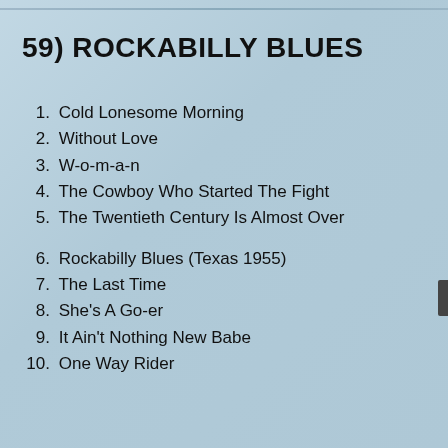59) ROCKABILLY BLUES
1.  Cold Lonesome Morning
2.  Without Love
3.  W-o-m-a-n
4.  The Cowboy Who Started The Fight
5.  The Twentieth Century Is Almost Over
6.  Rockabilly Blues (Texas 1955)
7.  The Last Time
8.  She's A Go-er
9.  It Ain't Nothing New Babe
10.  One Way Rider